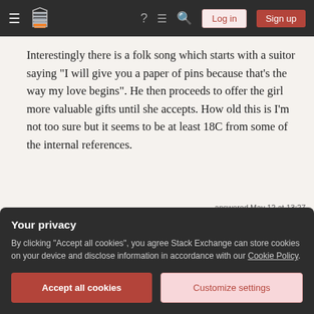Stack Exchange navigation bar with hamburger menu, logo, help, chat, search icons, Log in and Sign up buttons
Interestingly there is a folk song which starts with a suitor saying "I will give you a paper of pins because that's the way my love begins". He then proceeds to offer the girl more valuable gifts until she accepts. How old this is I'm not too sure but it seems to be at least 18C from some of the internal references.
Share
Improve this answer
Follow
answered May 12 at 13:27
BoldBen
16.5k ●25 ●37
Your privacy
By clicking "Accept all cookies", you agree Stack Exchange can store cookies on your device and disclose information in accordance with our Cookie Policy.
Accept all cookies   Customize settings